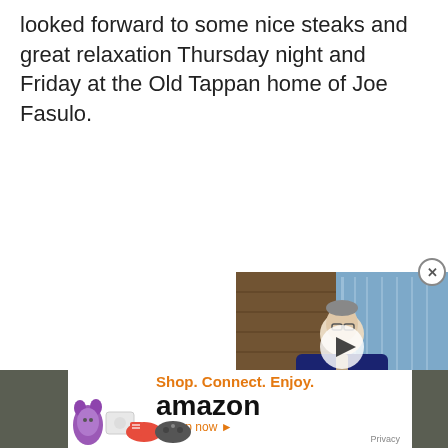looked forward to some nice steaks and great relaxation Thursday night and Friday at the Old Tappan home of Joe Fasulo.
[Figure (screenshot): Embedded video player showing a news segment titled 'SHOULD YOU FEAR THE FED?' with a man in a suit seated in front of a city backdrop, with a play button overlay and a close (X) button in the top-right corner.]
[Figure (photo): Amazon advertisement banner showing products (purple cat plush, white console, red sneakers, gaming controller), text 'Shop. Connect. Enjoy. amazon Shop now' with an orange arrow, and 'Privacy' text. Dark gray strips on left and right sides.]